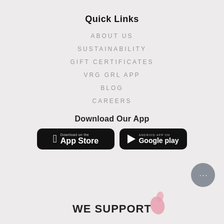Quick Links
ABOUT US
SUSTAINABILITY
GIFT CERTIFICATES
VRG GRL APP
BLOG
CAREERS
Download Our App
[Figure (screenshot): App Store download button (black rounded rectangle with Apple logo and 'Download on the App Store' text)]
[Figure (screenshot): Google Play download button (black rounded rectangle with play arrow and 'Google play' text)]
[Figure (other): Chat/support bubble icon (grey circle with ellipsis dots)]
WE SUPPORT